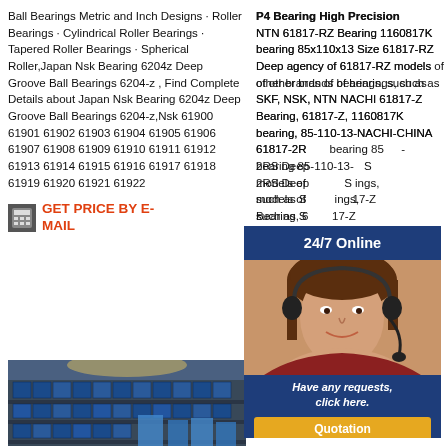Ball Bearings Metric and Inch Designs · Roller Bearings · Cylindrical Roller Bearings · Tapered Roller Bearings · Spherical Roller,Japan Nsk Bearing 6204z Deep Groove Ball Bearings 6204-z , Find Complete Details about Japan Nsk Bearing 6204z Deep Groove Ball Bearings 6204-z,Nsk 61900 61901 61902 61903 61904 61905 61906 61907 61908 61909 61910 61911 61912 61913 61914 61915 61916 61917 61918 61919 61920 61921 61922
P4 Bearing High Precision NTN 61817-RZ Bearing 1160817K bearing 85x110x13 Size 61817-RZ Deep agency of 61817-RZ models of other brands of bearings, such as SKF, NSK, NTN NACHI 61817-Z Bearing, 61817-Z, 1160817K bearing, 85-110-13-NACHI-CHINA 61817-2RS bearing 85-110-13 2RS Deep models of other brands of bearings, such as SKF, NSK, NTN NACHI 61817-Z Bearing, 61817-Z, 1160817K bearing, 85-110-13
GET PRICE BY E-MAIL
GET PRICE BY E-MAIL
[Figure (infographic): 24/7 Online blue banner overlay]
[Figure (photo): Customer service representative with headset on dark blue background with 'Have any requests, click here.' text and Quotation button]
[Figure (photo): Photo of industrial bearings products stacked in a warehouse]